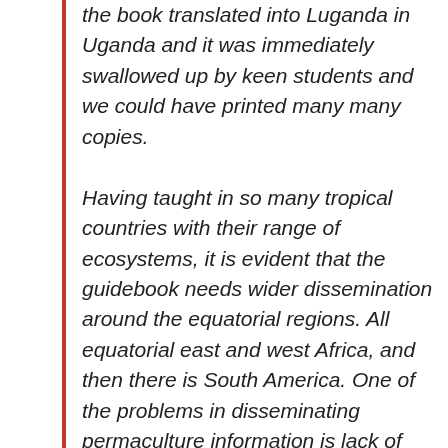the book translated into Luganda in Uganda and it was immediately swallowed up by keen students and we could have printed many many copies. Having taught in so many tropical countries with their range of ecosystems, it is evident that the guidebook needs wider dissemination around the equatorial regions. All equatorial east and west Africa, and then there is South America. One of the problems in disseminating permaculture information is lack of suitable and relevant resources particularly for the tropic regions. I hope the present book will be revised, updated and made available to students and farmers to meet a need for their